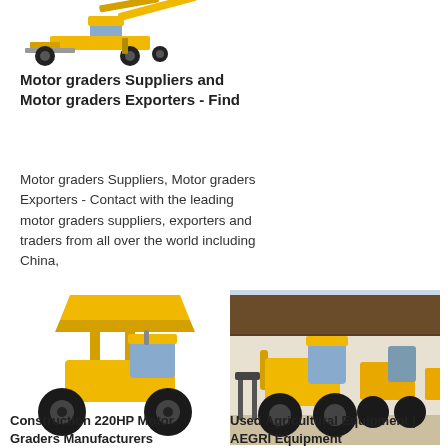[Figure (photo): Yellow motor grader / construction machine viewed from the side, partial top crop]
Motor graders Suppliers and Motor graders Exporters - Find
Motor graders Suppliers, Motor graders Exporters - Contact with the leading motor graders suppliers, exporters and traders from all over the world including China,
[Figure (photo): Yellow wheel loader / construction machine with raised yellow bucket, side view on white background]
[Figure (photo): Multiple yellow wheel loaders with forks/attachments parked in a row in a warehouse/yard]
Construction 220HP Motor Graders Manufacturers
Used Agricultural Equipment | AEGRI Equipment